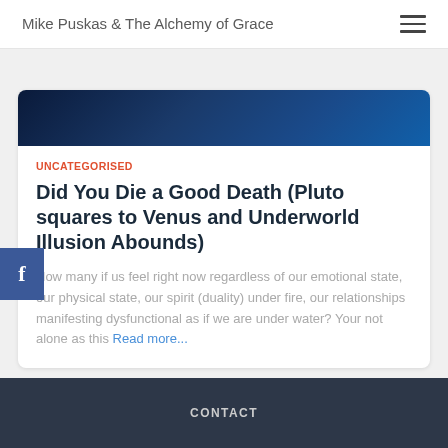Mike Puskas & The Alchemy of Grace
[Figure (photo): Dark blue decorative image strip at top of article card]
UNCATEGORISED
Did You Die a Good Death (Pluto squares to Venus and Underworld Illusion Abounds)
How many if us feel right now regardless of our emotional state, our physical state, our spirit (duality) under fire, our relationships manifesting dysfunctional as if we are under water? Your not alone as this Read more...
CONTACT